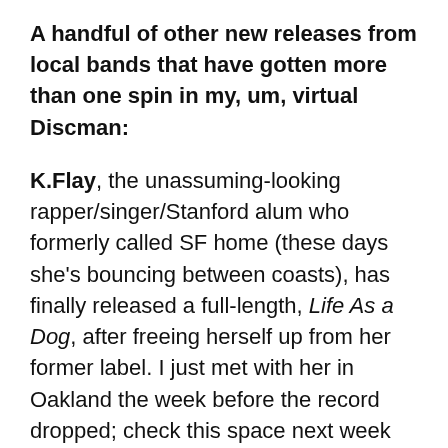A handful of other new releases from local bands that have gotten more than one spin in my, um, virtual Discman:
K.Flay, the unassuming-looking rapper/singer/Stanford alum who formerly called SF home (these days she's bouncing between coasts), has finally released a full-length, Life As a Dog, after freeing herself up from her former label. I just met with her in Oakland the week before the record dropped; check this space next week for a full-length interview.
Monster Treasure, self-titled LP, out June 2 on Harlot Records: Lo-fi, lady-fronted, melodic garage-fuzz punk from Stockton. This three-